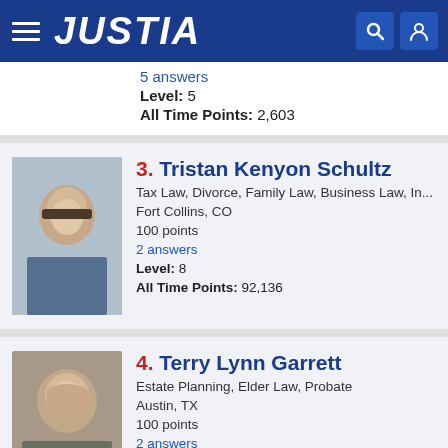JUSTIA
5 answers
Level: 5
All Time Points: 2,603
3. Tristan Kenyon Schultz
Tax Law, Divorce, Family Law, Business Law, In...
Fort Collins, CO
100 points
2 answers
Level: 8
All Time Points: 92,136
4. Terry Lynn Garrett
Estate Planning, Elder Law, Probate
Austin, TX
100 points
2 answers
Level: 7